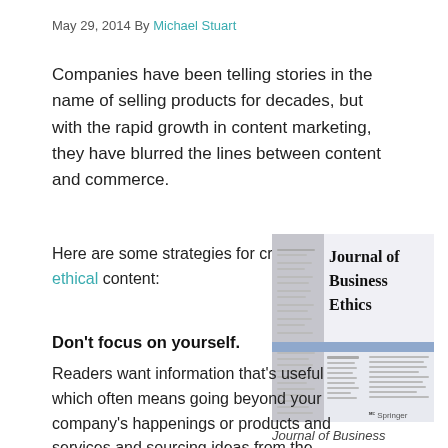May 29, 2014 By Michael Stuart
Companies have been telling stories in the name of selling products for decades, but with the rapid growth in content marketing, they have blurred the lines between content and commerce.
Here are some strategies for creating ethical content:
[Figure (photo): Cover of the Journal of Business Ethics, published by Springer, showing table of contents on a gray and blue background.]
Don't focus on yourself.
Readers want information that's useful which often means going beyond your company's happenings or products and services and sourcing ideas from the broader industry...
Journal of Business